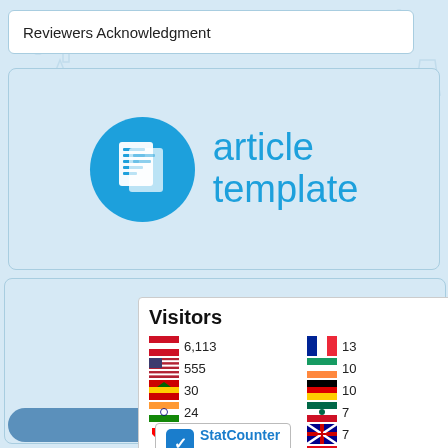Reviewers Acknowledgment
[Figure (logo): Article template logo with blue circle icon and 'article template' text in blue]
[Figure (infographic): Visitors widget showing flag counter with countries and visitor counts: Indonesia 6,113; USA 555; Malaysia 30; India 24; Canada 19; Singapore 14; France 13; Ireland 10; Germany 10; Mexico 7; Australia 7; Turkey 6. Below: FLAG counter bar and StatCounter widget with 'View My Stats' link.]
View My Stats
CONTACT